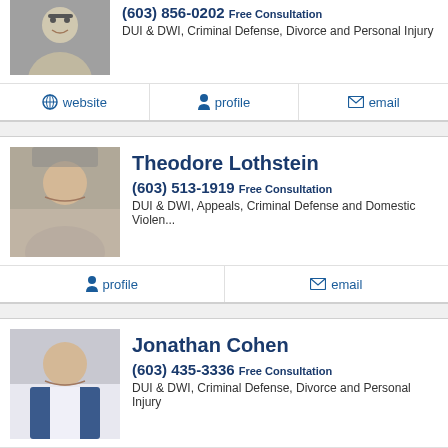[Figure (photo): Attorney headshot - man with glasses]
(603) 856-0202 Free Consultation
DUI & DWI, Criminal Defense, Divorce and Personal Injury
website | profile | email
Theodore Lothstein
[Figure (photo): Attorney headshot - Theodore Lothstein, bald man]
(603) 513-1919 Free Consultation
DUI & DWI, Appeals, Criminal Defense and Domestic Violen...
profile | email
Jonathan Cohen
[Figure (photo): Attorney headshot - Jonathan Cohen, man in suit]
(603) 435-3336 Free Consultation
DUI & DWI, Criminal Defense, Divorce and Personal Injury
website | profile | email